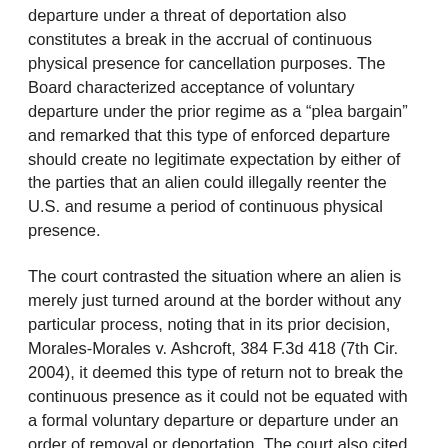departure under a threat of deportation also constitutes a break in the accrual of continuous physical presence for cancellation purposes. The Board characterized acceptance of voluntary departure under the prior regime as a “plea bargain” and remarked that this type of enforced departure should create no legitimate expectation by either of the parties that an alien could illegally reenter the U.S. and resume a period of continuous physical presence.
The court contrasted the situation where an alien is merely just turned around at the border without any particular process, noting that in its prior decision, Morales-Morales v. Ashcroft, 384 F.3d 418 (7th Cir. 2004), it deemed this type of return not to break the continuous presence as it could not be equated with a formal voluntary departure or departure under an order of removal or deportation. The court also cited to Matter of Avilez-Nava, 23 I. & N. Dec. 799 (B.I.A. 2005) (en banc), which recognized that a mere refusal to admit an alien at the border does not constitute a break in continuous physical presence as this does not involve a formal documented process pursuant to which the alien was determined to be inadmissible to the U.S. In that case, the